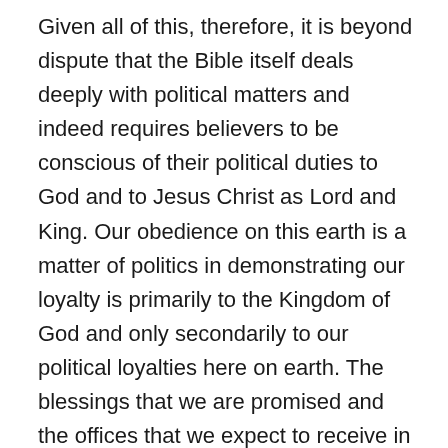Given all of this, therefore, it is beyond dispute that the Bible itself deals deeply with political matters and indeed requires believers to be conscious of their political duties to God and to Jesus Christ as Lord and King. Our obedience on this earth is a matter of politics in demonstrating our loyalty is primarily to the Kingdom of God and only secondarily to our political loyalties here on earth. The blessings that we are promised and the offices that we expect to receive in the world to come are political–though they are not voted on by men but given by God, demonstrating monarchical rather than democratic politics, it must be admitted. At times, the Bible comments on political matters and even (especially in the Hebrew scriptures) shows anointed believers as prophets and believers interacting with and influencing political matters, serving Gentile rulers in high political office, anointing